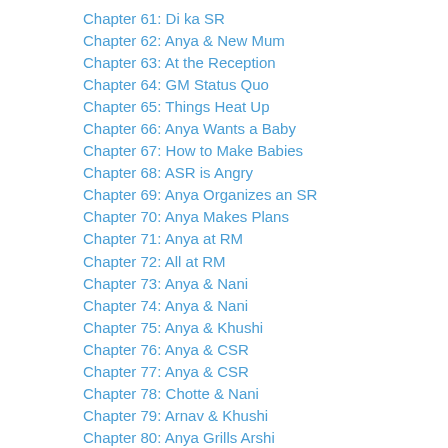Chapter 61: Di ka SR
Chapter 62: Anya & New Mum
Chapter 63: At the Reception
Chapter 64: GM Status Quo
Chapter 65: Things Heat Up
Chapter 66: Anya Wants a Baby
Chapter 67: How to Make Babies
Chapter 68: ASR is Angry
Chapter 69: Anya Organizes an SR
Chapter 70: Anya Makes Plans
Chapter 71: Anya at RM
Chapter 72: All at RM
Chapter 73: Anya & Nani
Chapter 74: Anya & Nani
Chapter 75: Anya & Khushi
Chapter 76: Anya & CSR
Chapter 77: Anya & CSR
Chapter 78: Chotte & Nani
Chapter 79: Arnav & Khushi
Chapter 80: Anya Grills Arshi